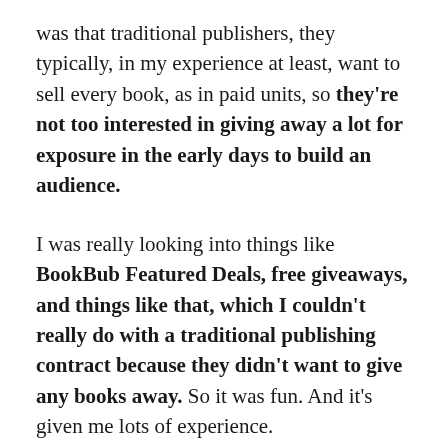was that traditional publishers, they typically, in my experience at least, want to sell every book, as in paid units, so they're not too interested in giving away a lot for exposure in the early days to build an audience.
I was really looking into things like BookBub Featured Deals, free giveaways, and things like that, which I couldn't really do with a traditional publishing contract because they didn't want to give any books away. So it was fun. And it's given me lots of experience.
My cover designer, my proofreader, and my editor all come from traditional publishing because I was in an office with them. But it's not